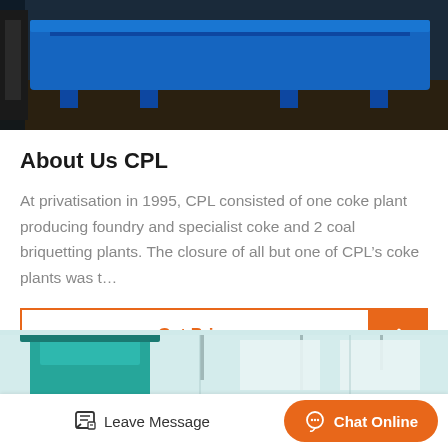[Figure (photo): Industrial blue machine/equipment in a factory setting, viewed from above and side angle.]
About Us CPL
At privatisation in 1995, CPL consisted of one coke plant producing foundry and specialist coke and 2 coal briquetting plants. The closure of all but one of CPL’s coke plants was t…
Get Price
[Figure (photo): Industrial green hopper/funnel equipment inside a factory warehouse.]
Leave Message
Chat Online